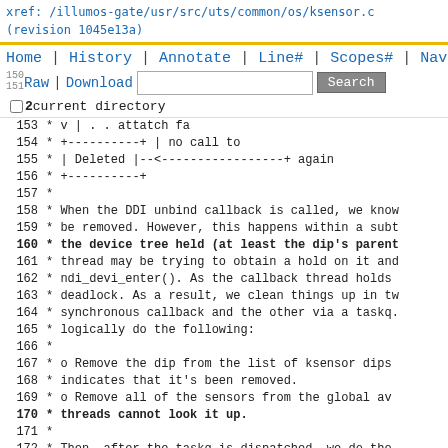xref: /illumos-gate/usr/src/uts/common/os/ksensor.c
(revision 1045e13a)
Home | History | Annotate | Line# | Scopes# | Navigate#
Raw | Download  [search box]  Search
□ 2current directory
153  *       v
154  *  +----------+
155  *  | Deleted |--<-----------------+     again
156  *  +----------+
157  *
158  * When the DDI unbind callback is called, we know
159  * be removed. However, this happens within a subt
160  * the device tree held (at least the dip's parent
161  * thread may be trying to obtain a hold on it and
162  * ndi_devi_enter(). As the callback thread holds
163  * deadlock. As a result, we clean things up in tw
164  * synchronous callback and the other via a taskq.
165  * logically do the following:
166  *
167  *  o Remove the dip from the list of ksensor dips
168  *    indicates that it's been removed.
169  *  o Remove all of the sensors from the global av
170  *    threads cannot look it up.
171  *
172  * Then, after the taskq is dispatched, we do the
173  *
174  *  o Tell the ksensor driver that it should remov
175  *  o Block on each sensor until it is no-longer